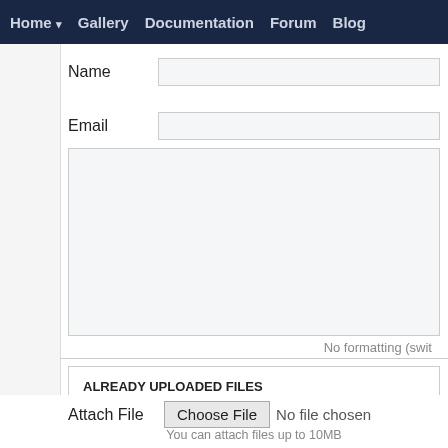Home ▾  Gallery  Documentation  Forum  Blog
Name
Email
No formatting (swit
ALREADY UPLOADED FILES
Write_Table_Screenshot.png 356 KB
write_table.zip 2 KB
Attach File  Choose File  No file chosen
You can attach files up to 10MB